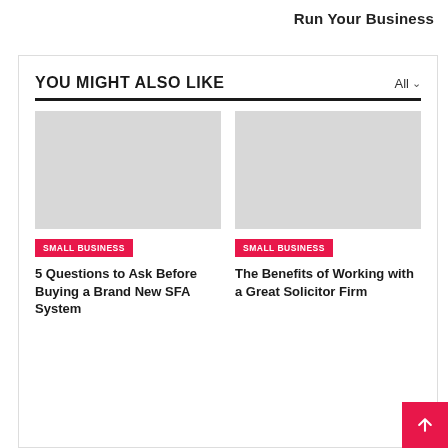Run Your Business
YOU MIGHT ALSO LIKE
[Figure (illustration): Gray placeholder image for article card 1]
SMALL BUSINESS
5 Questions to Ask Before Buying a Brand New SFA System
[Figure (illustration): Gray placeholder image for article card 2]
SMALL BUSINESS
The Benefits of Working with a Great Solicitor Firm